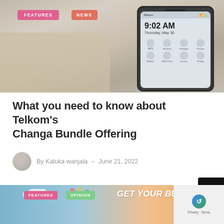[Figure (photo): Smartphone showing Android quick-settings panel with time 9:02 AM Thursday May 30, held over sandy/gravel background. FEATURES and NEWS badge overlays in top-left corner.]
What you need to know about Telkom's Changa Bundle Offering
By Kaluka wanjala – June 21, 2022
[Figure (photo): Partial preview of another article card with FEATURES and OPINION badges and text 'GET YOUR BUSINESS ON AIR' over a sky-blue and orange gradient background with hot air balloons.]